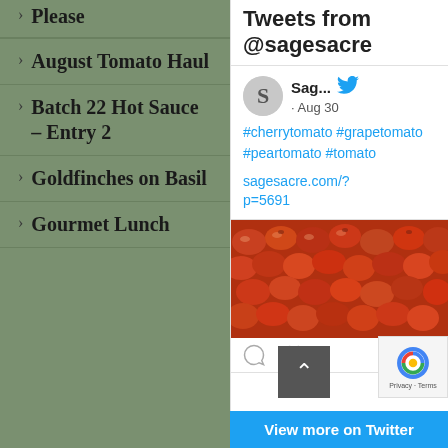August Tomato Haul
Batch 22 Hot Sauce – Entry 2
Goldfinches on Basil
Gourmet Lunch
Tweets from @sagesacre
Sag... · Aug 30
#cherrytomato #grapetomato #peartomato #tomato
sagesacre.com/?p=5691
[Figure (photo): Close-up photo of many red/orange grape or cherry tomatoes packed together]
View more on Twitter